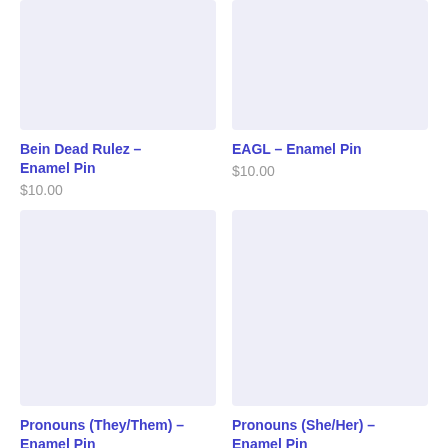[Figure (photo): Product image placeholder for Bein Dead Rulez Enamel Pin - light lavender/purple background]
Bein Dead Rulez – Enamel Pin
$10.00
[Figure (photo): Product image placeholder for EAGL Enamel Pin - light lavender/purple background]
EAGL – Enamel Pin
$10.00
[Figure (photo): Product image placeholder for Pronouns (They/Them) Enamel Pin - light lavender/purple background]
Pronouns (They/Them) – Enamel Pin
$10.00
[Figure (photo): Product image placeholder for Pronouns (She/Her) Enamel Pin - light lavender/purple background]
Pronouns (She/Her) – Enamel Pin
$10.00